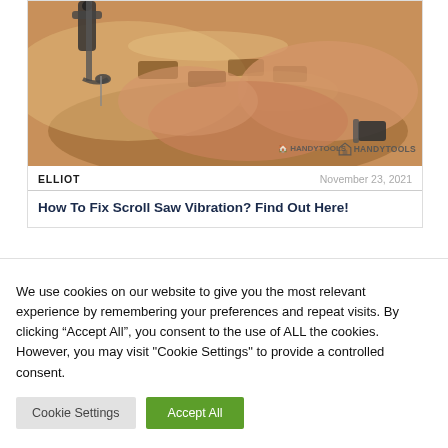[Figure (photo): Photo of hands operating a scroll saw on wood, with HandyTools watermark visible in lower right]
ELLIOT	November 23, 2021
How To Fix Scroll Saw Vibration? Find Out Here!
We use cookies on our website to give you the most relevant experience by remembering your preferences and repeat visits. By clicking "Accept All", you consent to the use of ALL the cookies. However, you may visit "Cookie Settings" to provide a controlled consent.
Cookie Settings | Accept All